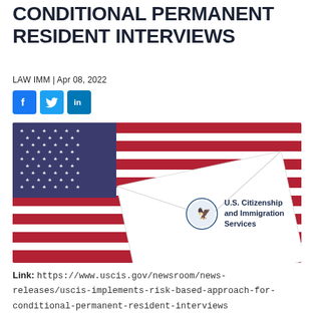CONDITIONAL PERMANENT RESIDENT INTERVIEWS
LAW IMM | Apr 08, 2022
[Figure (illustration): Social media share buttons: Facebook (blue), Twitter (light blue), LinkedIn (dark blue)]
[Figure (photo): A white envelope bearing the U.S. Citizenship and Immigration Services seal and name, resting on a U.S. American flag showing red and white stripes and blue star field.]
Link: https://www.uscis.gov/newsroom/news-releases/uscis-implements-risk-based-approach-for-conditional-permanent-resident-interviews